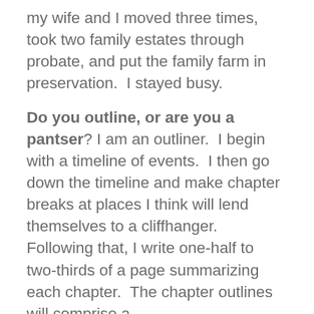my wife and I moved three times, took two family estates through probate, and put the family farm in preservation.  I stayed busy.
Do you outline, or are you a pantser? I am an outliner.  I begin with a timeline of events.  I then go down the timeline and make chapter breaks at places I think will lend themselves to a cliffhanger. Following that, I write one-half to two-thirds of a page summarizing each chapter.  The chapter outlines will comprise a